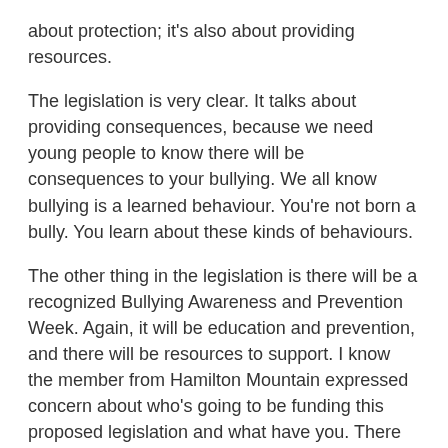about protection; it's also about providing resources.
The legislation is very clear. It talks about providing consequences, because we need young people to know there will be consequences to your bullying. We all know bullying is a learned behaviour. You're not born a bully. You learn about these kinds of behaviours.
The other thing in the legislation is there will be a recognized Bullying Awareness and Prevention Week. Again, it will be education and prevention, and there will be resources to support. I know the member from Hamilton Mountain expressed concern about who's going to be funding this proposed legislation and what have you. There are going to be resources, especially for the mental health piece, because we know that young people who have been bullied, or will be bullied down the road, need that support—not just the bullied, but also the perpetrator.
I fully support this legislation, and, moving forward, I'm